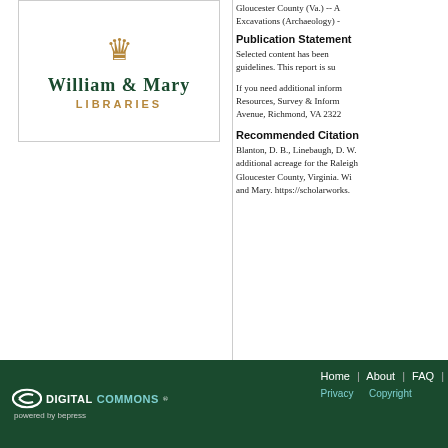[Figure (logo): William & Mary Libraries logo with crown icon, institution name in dark green, and LIBRARIES in gold uppercase]
Gloucester County (Va.) -- A Excavations (Archaeology) -
Publication Statement
Selected content has been guidelines. This report is su
If you need additional inform Resources, Survey & Inform Avenue, Richmond, VA 2322
Recommended Citation
Blanton, D. B., Linebaugh, D. W. additional acreage for the Raleigh Gloucester County, Virginia. Wi and Mary. https://scholarworks.
DIGITAL COMMONS powered by bepress | Home | About | FAQ | Privacy | Copyright